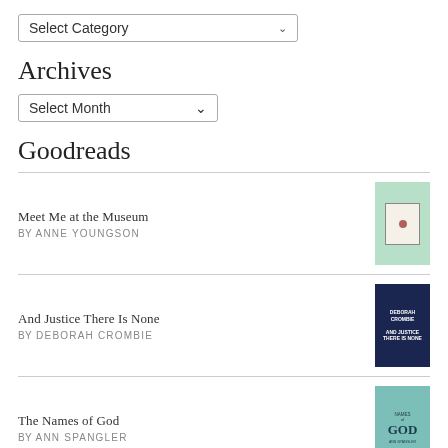[Figure (screenshot): Select Category dropdown widget]
Archives
[Figure (screenshot): Select Month dropdown widget]
Goodreads
Meet Me at the Museum BY ANNE YOUNGSON
And Justice There Is None BY DEBORAH CROMBIE
The Names of God BY ANN SPANGLER